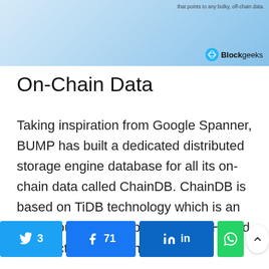[Figure (illustration): Top banner image with light blue gradient background and Blockgeeks logo in the bottom right corner. Small text at top right reads 'that points to any bulky, off-chain data.']
On-Chain Data
Taking inspiration from Google Spanner, BUMP has built a dedicated distributed storage engine database for all its on-chain data called ChainDB. ChainDB is based on TiDB technology which is an open-sourced, distributed HTAP (Hybrid Transactional and Analytical Processing) database. It has the following functions:
A horizontal expansion, so that new nodes can be easily added without storing